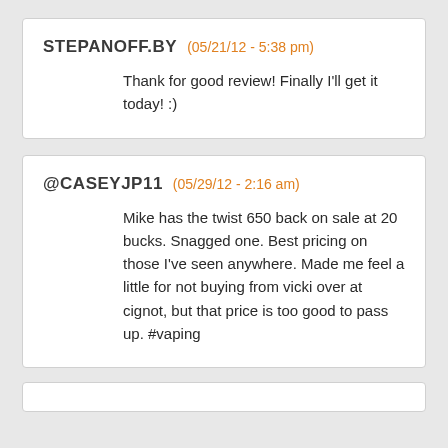STEPANOFF.BY (05/21/12 - 5:38 pm)
Thank for good review! Finally I'll get it today! :)
@CASEYJP11 (05/29/12 - 2:16 am)
Mike has the twist 650 back on sale at 20 bucks. Snagged one. Best pricing on those I've seen anywhere. Made me feel a little for not buying from vicki over at cignot, but that price is too good to pass up. #vaping